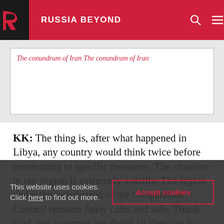RUSSIA BEYOND
[Figure (screenshot): Partial view of an article card with a red italic link text 'The conundrum of Iran']
KK: The thing is, after what happened in Libya, any country would think twice before committing to specific measures. The situation in our region is extremely volatile. The region under the jurisdiction of the Cooperation Council remains fairly calm and safe. Thank God, our countries are doing all they can to keep it that way.
The policies of other states, however, are not
This website uses cookies. Click here to find out more.